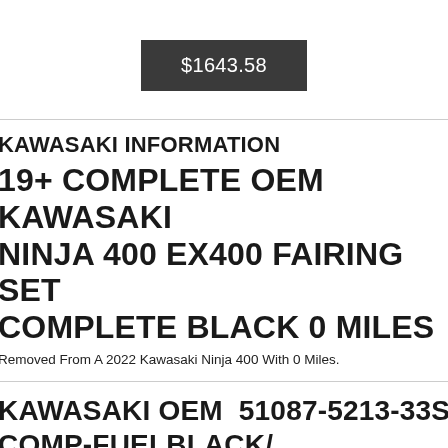$1643.58
KAWASAKI INFORMATION
19+ COMPLETE OEM KAWASAKI NINJA 400 EX400 FAIRING SET COMPLETE BLACK 0 MILES
Removed From A 2022 Kawasaki Ninja 400 With 0 Miles.
KAWASAKI OEM 51087-5213-33S TANK-COMP-FUELBLACK/
Kawasaki Motorcycles. Kawasaki Parts And Accessories. New Genuine Oem Kawasaki Official Kawasaki Paroduct. Condition New. Item Specifications. Never Been Mounted Or Used.